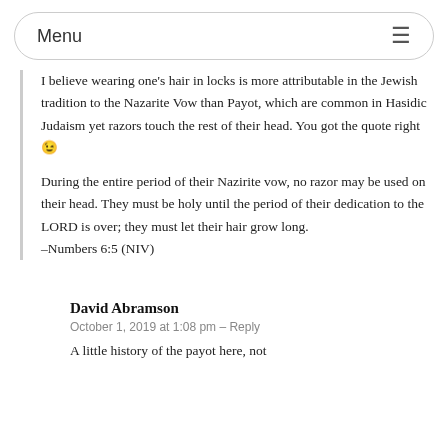Menu ☰
I believe wearing one's hair in locks is more attributable in the Jewish tradition to the Nazarite Vow than Payot, which are common in Hasidic Judaism yet razors touch the rest of their head. You got the quote right 🙂
During the entire period of their Nazirite vow, no razor may be used on their head. They must be holy until the period of their dedication to the LORD is over; they must let their hair grow long.
–Numbers 6:5 (NIV)
David Abramson
October 1, 2019 at 1:08 pm – Reply
A little history of the payot here, not